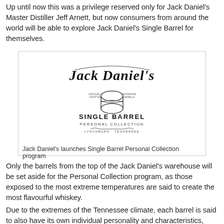Up until now this was a privilege reserved only for Jack Daniel's Master Distiller Jeff Arnett, but now consumers from around the world will be able to explore Jack Daniel's Single Barrel for themselves.
[Figure (logo): Jack Daniel's Single Barrel Personal Collection logo with barrel illustration, text: UNIQUELY CRAFTED, HANDMADE BARRELS, SINGLE BARREL, PERSONAL COLLECTION, LYNCHBURG TENNESSEE]
Jack Daniel's launches Single Barrel Personal Collection program
Only the barrels from the top of the Jack Daniel's warehouse will be set aside for the Personal Collection program, as those exposed to the most extreme temperatures are said to create the most flavourful whiskey.
Due to the extremes of the Tennessee climate, each barrel is said to also have its own individual personality and characteristics, which help to create subtle differences barrel